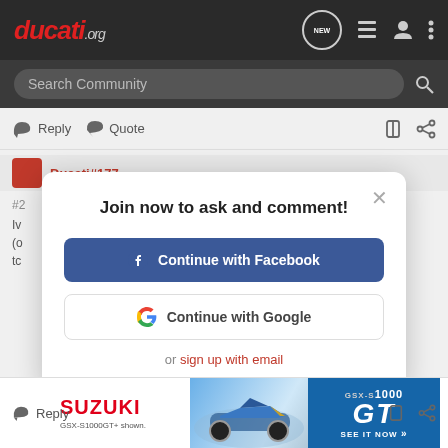ducati.org
Search Community
Reply  Quote
[Figure (screenshot): Background community forum post partially visible behind modal dialog]
Join now to ask and comment!
Continue with Facebook
Continue with Google
or sign up with email
[Figure (illustration): Suzuki GSX-S1000 GT advertisement banner showing motorcycle and 'SEE IT NOW' call to action]
Reply